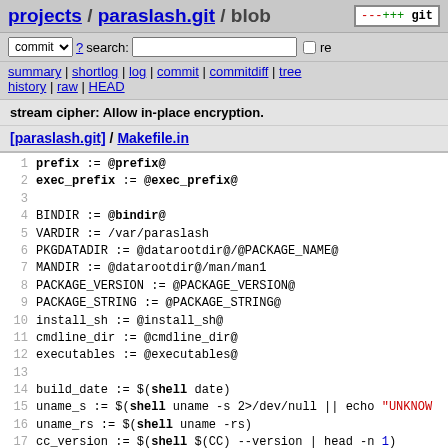projects / paraslash.git / blob
commit ? search: re
summary | shortlog | log | commit | commitdiff | tree history | raw | HEAD
stream cipher: Allow in-place encryption.
[paraslash.git] / Makefile.in
1  prefix := @prefix@
2  exec_prefix := @exec_prefix@
3
4  BINDIR := @bindir@
5  VARDIR := /var/paraslash
6  PKGDATADIR := @datarootdir@/@PACKAGE_NAME@
7  MANDIR := @datarootdir@/man/man1
8  PACKAGE_VERSION := @PACKAGE_VERSION@
9  PACKAGE_STRING := @PACKAGE_STRING@
10 install_sh := @install_sh@
11 cmdline_dir := @cmdline_dir@
12 executables := @executables@
13
14 build_date := $(shell date)
15 uname_s := $(shell uname -s 2>/dev/null || echo "UNKNOW
16 uname_rs := $(shell uname -rs)
17 cc_version := $(shell $(CC) --version | head -n 1)
18 codename := nested assignment
19